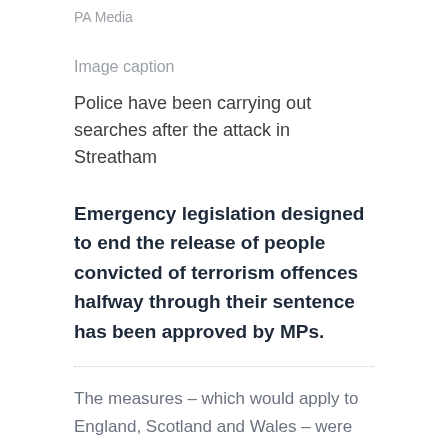PA Media
Image caption
Police have been carrying out searches after the attack in Streatham
Emergency legislation designed to end the release of people convicted of terrorism offences halfway through their sentence has been approved by MPs.
The measures – which would apply to England, Scotland and Wales – were drawn up after the attack in Streatham, south London, earlier this month.
The attacker, Sudesh Amman, had been freed from